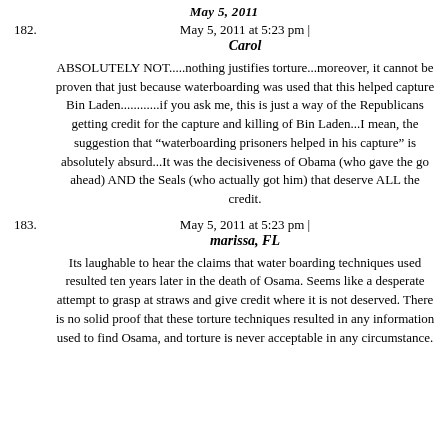May 5, 2011 at 5:23 pm | Carol
182. ABSOLUTELY NOT.....nothing justifies torture...moreover, it cannot be proven that just because waterboarding was used that this helped capture Bin Laden............if you ask me, this is just a way of the Republicans getting credit for the capture and killing of Bin Laden...I mean, the suggestion that "waterboarding prisoners helped in his capture" is absolutely absurd...It was the decisiveness of Obama (who gave the go ahead) AND the Seals (who actually got him) that deserve ALL the credit.
May 5, 2011 at 5:23 pm | marissa, FL
183. Its laughable to hear the claims that water boarding techniques used resulted ten years later in the death of Osama. Seems like a desperate attempt to grasp at straws and give credit where it is not deserved. There is no solid proof that these torture techniques resulted in any information used to find Osama, and torture is never acceptable in any circumstance.